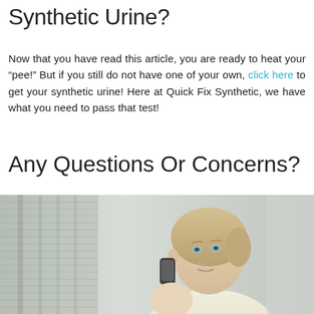Synthetic Urine?
Now that you have read this article, you are ready to heat your “pee!” But if you still do not have one of your own, click here to get your synthetic urine! Here at Quick Fix Synthetic, we have what you need to pass that test!
Any Questions Or Concerns?
[Figure (photo): A blonde woman talking on a mobile phone, looking slightly upward, with a blurred window/curtain background in light grey tones.]